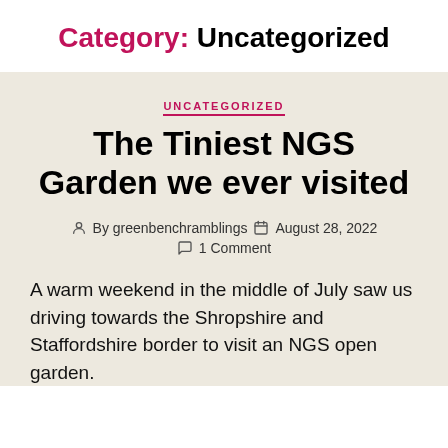Category: Uncategorized
UNCATEGORIZED
The Tiniest NGS Garden we ever visited
By greenbenchramblings   August 28, 2022   1 Comment
A warm weekend in the middle of July saw us driving towards the Shropshire and Staffordshire border to visit an NGS open garden.